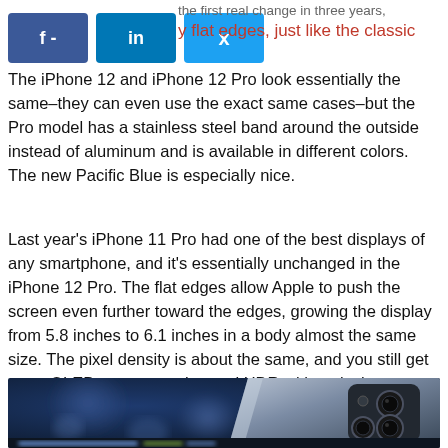[Figure (other): Social media share buttons: Facebook (f -), LinkedIn (in), Twitter (bird icon), with partially visible text to the right reading 'the first real change in three years' and 'y flat edges, just like the classic']
The iPhone 12 and iPhone 12 Pro look essentially the same–they can even use the exact same cases–but the Pro model has a stainless steel band around the outside instead of aluminum and is available in different colors. The new Pacific Blue is especially nice.
Last year's iPhone 11 Pro had one of the best displays of any smartphone, and it's essentially unchanged in the iPhone 12 Pro. The flat edges allow Apple to push the screen even further toward the edges, growing the display from 5.8 inches to 6.1 inches in a body almost the same size. The pixel density is about the same, and you still get great OLED contrast, color, and HDR with typical brightness up to 800 nits for standard content and 1,200 nits for HDR content.
[Figure (photo): Photo of iPhone 12 Pro in Pacific Blue color, showing the back of the device with triple camera system, dark blue background with blurred bokeh, partially cropped at bottom]